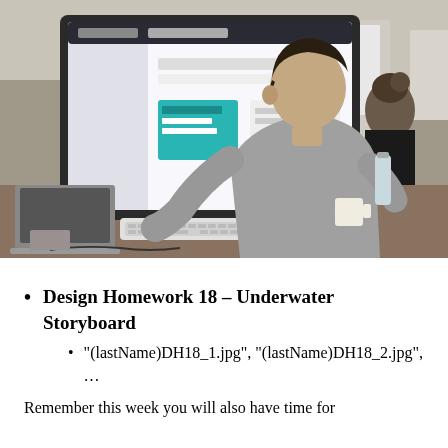[Figure (photo): Person sitting at a desk working on an iMac computer in an open office environment, viewed from behind/side, wearing a grey sweater. Other people and monitors visible in the background.]
Design Homework 18 – Underwater Storyboard
"(lastName)DH18_1.jpg", "(lastName)DH18_2.jpg", …
Remember this week you will also have time for